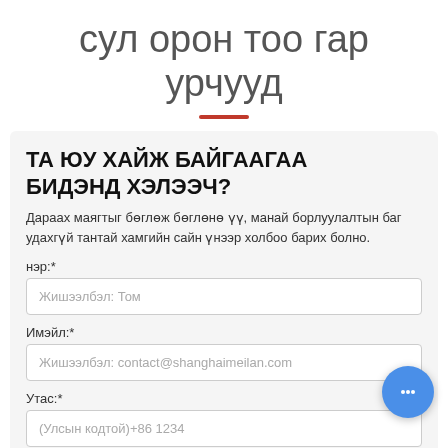сул орон тоо гар урчууд
ТА ЮУ ХАЙЖ БАЙГААГАА БИДЭНД ХЭЛЭЭЧ?
Дараах маягтыг бөглөж бөглөнө үү, манай борлуулалтын баг удахгүй тантай хамгийн сайн үнээр холбоо барих болно.
нэр:*
Жишээлбэл: Том
Имэйл:*
Жишээлбэл: contact@shanghaimeilan.com
Утас:*
(Улсын кодтой)+86 1234